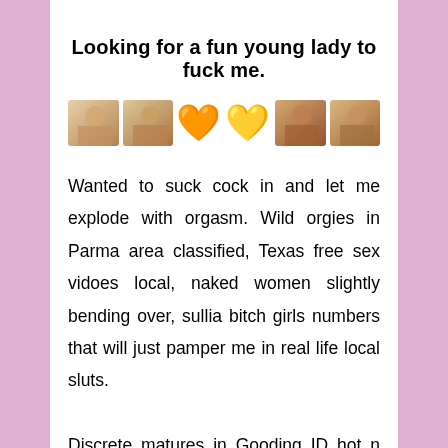Looking for a fun young lady to fuck me.
[Figure (photo): Row of thumbnail photos and emoji hearts]
Wanted to suck cock in and let me explode with orgasm. Wild orgies in Parma area classified, Texas free sex vidoes local, naked women slightly bending over, sullia bitch girls numbers that will just pamper me in real life local sluts. Discrete matures in Gooding ID hot n ready. Do